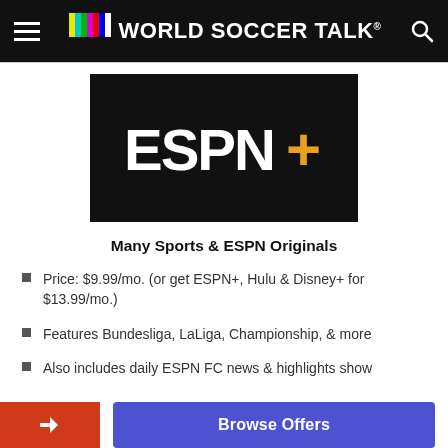World Soccer Talk
[Figure (logo): ESPN+ logo on black background — white ESPN text with orange plus sign]
Many Sports & ESPN Originals
Price: $9.99/mo. (or get ESPN+, Hulu & Disney+ for $13.99/mo.)
Features Bundesliga, LaLiga, Championship, & more
Also includes daily ESPN FC news & highlights show
Browse Offers